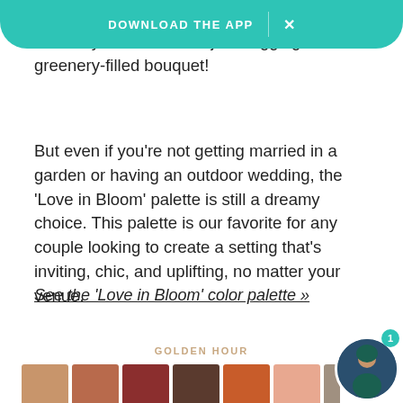your floral arrangements would be one of the best ways to s... shade is just begging for a greenery-filled bouquet!
But even if you’re not getting married in a garden or having an outdoor wedding, the ‘Love in Bloom’ palette is still a dreamy choice. This palette is our favorite for any couple looking to create a setting that’s inviting, chic, and uplifting, no matter your venue.
See the ‘Love in Bloom’ color palette »
GOLDEN HOUR
[Figure (illustration): A row of 8 color swatches for the Golden Hour palette: tan/sandy, terracotta orange, dark red, dark brown, burnt orange, peach/salmon, taupe/grey, cream/off-white]